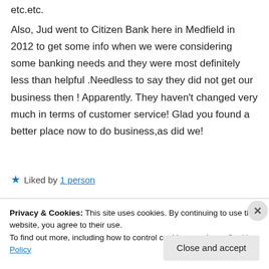etc.etc.
Also, Jud went to Citizen Bank here in Medfield in 2012 to get some info when we were considering some banking needs and they were most definitely less than helpful .Needless to say they did not get our business then ! Apparently. They haven't changed very much in terms of customer service! Glad you found a better place now to do business,as did we!
Liked by 1 person
Privacy & Cookies: This site uses cookies. By continuing to use this website, you agree to their use.
To find out more, including how to control cookies, see here: Cookie Policy